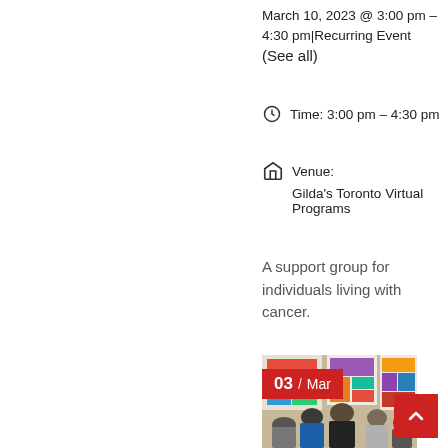March 10, 2023 @ 3:00 pm - 4:30 pm|Recurring Event (See all)
Time: 3:00 pm - 4:30 pm
Venue: Gilda's Toronto Virtual Programs
A support group for individuals living with cancer.
[Figure (photo): Group of people in a gallery setting with colorful artworks on the wall, date badge showing 03 / Mar in red]
03 / Mar